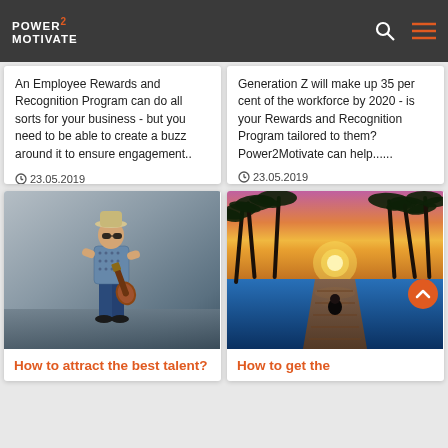Power2Motivate
An Employee Rewards and Recognition Program can do all sorts for your business - but you need to be able to create a buzz around it to ensure engagement..
23.05.2019
Generation Z will make up 35 per cent of the workforce by 2020 - is your Rewards and Recognition Program tailored to them? Power2Motivate can help....
23.05.2019
[Figure (photo): Child wearing hat and sunglasses playing guitar against grey wall]
How to attract the best talent?
[Figure (photo): Tropical sunset with palm trees, pool and person sitting on dock]
How to get the